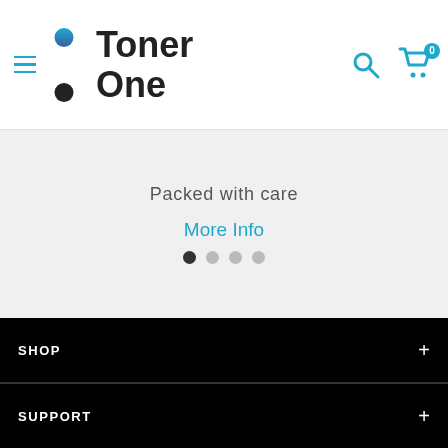[Figure (logo): Toner One logo with hamburger menu icon on the left, search and cart icons on the right]
Packed with care
More Info
[Figure (other): Carousel dots: 4 dots, first one active (dark), rest grey]
SHOP
SUPPORT
OUR BUSINESS ADDRESS
CONTACT NOW